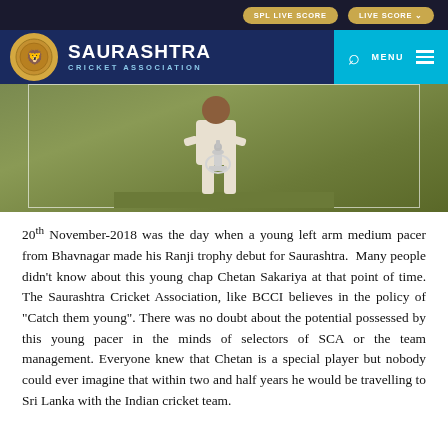SPL LIVE SCORE   LIVE SCORE
[Figure (logo): Saurashtra Cricket Association logo and header with search and menu]
[Figure (photo): A cricketer in white uniform kneeling on a cricket ground holding a large silver trophy]
20th November-2018 was the day when a young left arm medium pacer from Bhavnagar made his Ranji trophy debut for Saurashtra. Many people didn't know about this young chap Chetan Sakariya at that point of time. The Saurashtra Cricket Association, like BCCI believes in the policy of "Catch them young". There was no doubt about the potential possessed by this young pacer in the minds of selectors of SCA or the team management. Everyone knew that Chetan is a special player but nobody could ever imagine that within two and half years he would be travelling to Sri Lanka with the Indian cricket team.